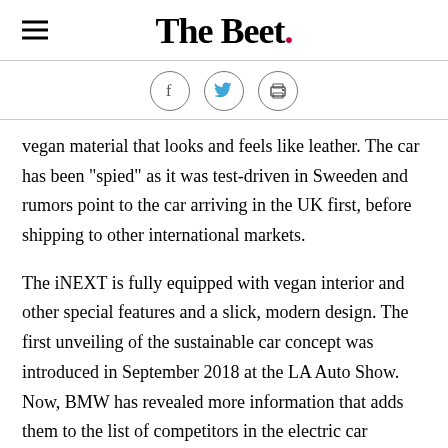The Beet.
[Figure (infographic): Social sharing icons: Facebook, Twitter, and Print, displayed as circles with icons inside]
vegan material that looks and feels like leather. The car has been "spied" as it was test-driven in Sweeden and rumors point to the car arriving in the UK first, before shipping to other international markets.
The iNEXT is fully equipped with vegan interior and other special features and a slick, modern design. The first unveiling of the sustainable car concept was introduced in September 2018 at the LA Auto Show. Now, BMW has revealed more information that adds them to the list of competitors in the electric car category. The question is,